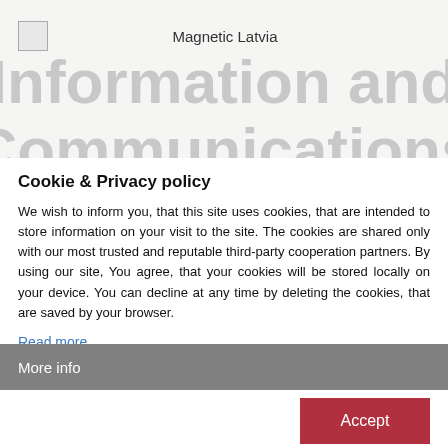Magnetic Latvia
Information and Communications
Cookie & Privacy policy
We wish to inform you, that this site uses cookies, that are intended to store information on your visit to the site. The cookies are shared only with our most trusted and reputable third-party cooperation partners. By using our site, You agree, that your cookies will be stored locally on your device. You can decline at any time by deleting the cookies, that are saved by your browser.
Read more
More info
Accept